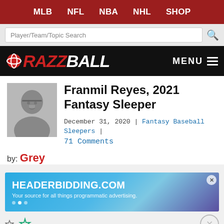MLB  NFL  NBA  NHL  SHOP
[Figure (screenshot): Search bar with placeholder text 'Player/Team/Topic Search' and magnifying glass icon]
[Figure (logo): Razzball logo in red and white italic bold text on black background, with MENU hamburger button on right]
Franmil Reyes, 2021 Fantasy Sleeper
December 31, 2020 | Fantasy Baseball Sleepers | 71 Comments
by: Grey
[Figure (screenshot): Advertisement banner for HEADERBIDDING.COM - Your source for all things programmatic advertising.]
[Figure (screenshot): Disney Bundle advertisement: GET THE DISNEY BUNDLE with hulu, Disney+, ESPN+ logos]